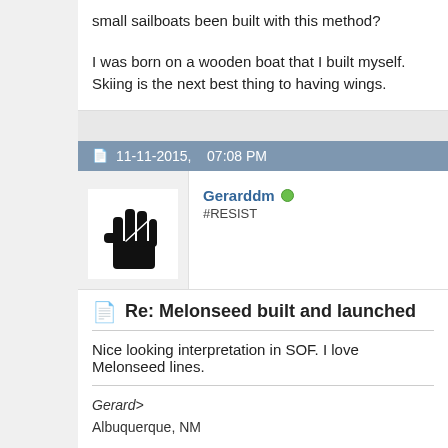small sailboats been built with this method?

I was born on a wooden boat that I built myself.
Skiing is the next best thing to having wings.
11-11-2015,   07:08 PM
Gerarddm
#RESIST
Re: Melonseed built and launched
Nice looking interpretation in SOF. I love Melonseed lines.
Gerard>
Albuquerque, NM

Every Republican is an obstacle to progress.